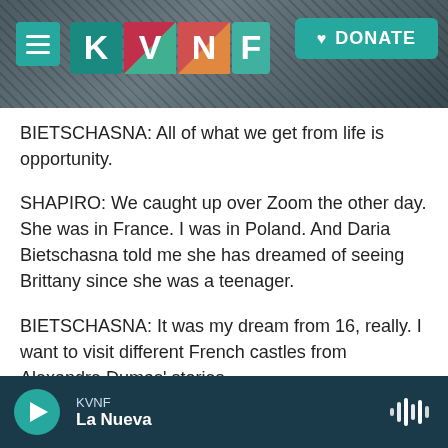[Figure (screenshot): KVNF radio website header with logo and DONATE button on a dark rocky background]
BIETSCHASNA: All of what we get from life is opportunity.
SHAPIRO: We caught up over Zoom the other day. She was in France. I was in Poland. And Daria Bietschasna told me she has dreamed of seeing Brittany since she was a teenager.
BIETSCHASNA: It was my dream from 16, really. I want to visit different French castles from Alexandre Dumas' stories.
SHAPIRO: Yeah.
[Figure (screenshot): KVNF La Nueva audio player bar at bottom with play button and waveform icon]